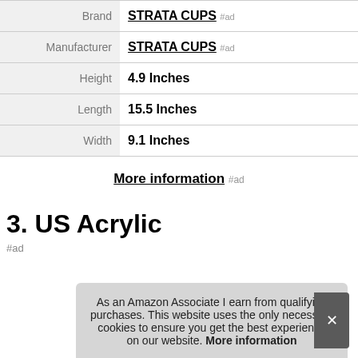| Attribute | Value |
| --- | --- |
| Brand | STRATA CUPS #ad |
| Manufacturer | STRATA CUPS #ad |
| Height | 4.9 Inches |
| Length | 15.5 Inches |
| Width | 9.1 Inches |
More information #ad
3. US Acrylic
#ad
As an Amazon Associate I earn from qualifying purchases. This website uses the only necessary cookies to ensure you get the best experience on our website. More information